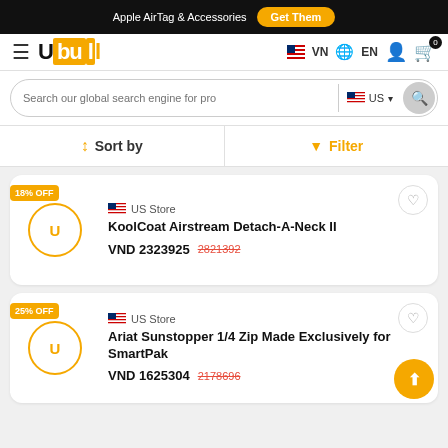Apple AirTag & Accessories  Get Them
[Figure (logo): Ubuy logo with hamburger menu, VN flag, EN language, user and cart icons]
Search our global search engine for pro  US
Sort by   Filter
18% OFF  US Store  KoolCoat Airstream Detach-A-Neck II  VND 2323925  2821392
25% OFF  US Store  Ariat Sunstopper 1/4 Zip Made Exclusively for SmartPak  VND 1625304  2178696